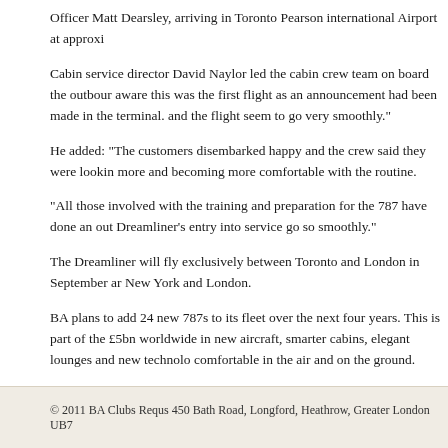Officer Matt Dearsley, arriving in Toronto Pearson international Airport at approxi
Cabin service director David Naylor led the cabin crew team on board the outbour aware this was the first flight as an announcement had been made in the terminal. and the flight seem to go very smoothly."
He added: "The customers disembarked happy and the crew said they were lookin more and becoming more comfortable with the routine.
"All those involved with the training and preparation for the 787 have done an out Dreamliner’s entry into service go so smoothly."
The Dreamliner will fly exclusively between Toronto and London in September ar New York and London.
BA plans to add 24 new 787s to its fleet over the next four years. This is part of the £5bn worldwide in new aircraft, smarter cabins, elegant lounges and new technolo comfortable in the air and on the ground.
© 2011 BA Clubs Requs 450 Bath Road, Longford, Heathrow, Greater London UB7